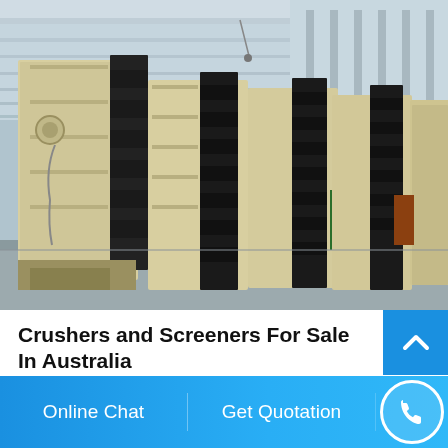[Figure (photo): Row of large industrial vibrating screener machines (beige/cream colored frames with black screening panels) standing upright in a warehouse or factory building with a corrugated metal roof and columns.]
Crushers and Screeners For Sale In Australia
USED  McCloskey S44 Screen  Condition  VICTORIA Li...